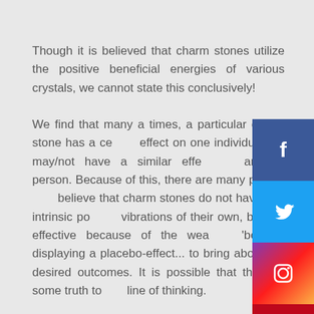Though it is believed that charm stones utilize the positive beneficial energies of various crystals, we cannot state this conclusively!
We find that many a times, a particular charm stone has a certain effect on one individual but may/not have a similar effect on another person. Because of this, there are many people who believe that charm stones do not have any intrinsic positive vibrations of their own, but are effective because of the wearer's 'belief'... displaying a placebo-effect... to bring about the desired outcomes. It is possible that there is some truth to this line of thinking.
As individuals, we are seeking good, positive experience in our life and in this regard, if a particular crystal or stone can make us feel good, help us feel positive and hopeful, then why not benefit from their positive presence in our life?
[Figure (infographic): Social media share buttons sidebar: Facebook (blue), Twitter (light blue), Instagram (gradient pink/purple), Pinterest (red), LinkedIn (blue), Google+ (red-orange), More options (gray with ellipsis)]